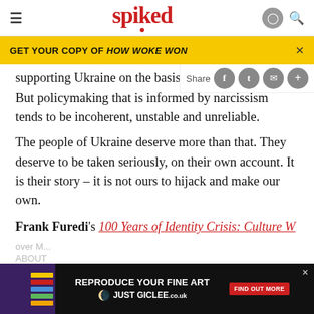spiked
GET YOUR COPY OF HOW WOKE WON
supporting Ukraine on the basis
But policymaking that is informed by narcissism tends to be incoherent, unstable and unreliable.
The people of Ukraine deserve more than that. They deserve to be taken seriously, on their own account. It is their story – it is not ours to hijack and make our own.
Frank Furedi's 100 Years of Identity Crisis: Culture W
[Figure (screenshot): Advertisement bar: REPRODUCE YOUR FINE ART / JUST GICLEE logo with FIND OUT MORE button]